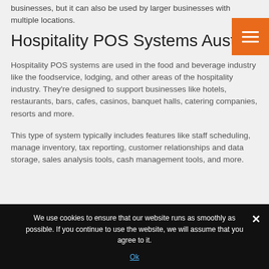businesses, but it can also be used by larger businesses with multiple locations.
Hospitality POS Systems Austra
Hospitality POS systems are used in the food and beverage industry like the foodservice, lodging, and other areas of the hospitality industry. They're designed to support businesses like hotels, restaurants, bars, cafes, casinos, banquet halls, catering companies, resorts and more.
This type of system typically includes features like staff scheduling, manage inventory, tax reporting, customer relationships and data storage, sales analysis tools, cash management tools, and more.
We use cookies to ensure that our website runs as smoothly as possible. If you continue to use the website, we will assume that you agree to it.
Ok